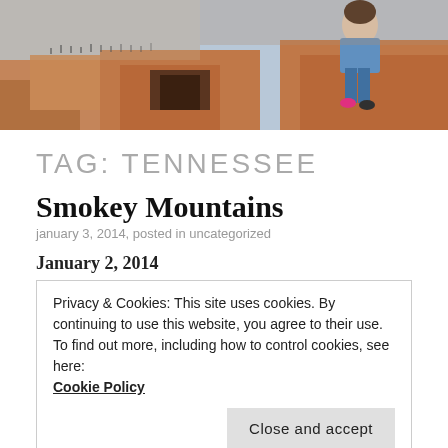[Figure (photo): A person sitting on reddish-brown rocky terrain, outdoor landscape photo used as a banner image at the top of the page.]
TAG: TENNESSEE
Smokey Mountains
january 3, 2014, posted in uncategorized
January 2, 2014
Privacy & Cookies: This site uses cookies. By continuing to use this website, you agree to their use.
To find out more, including how to control cookies, see here:
Cookie Policy
Close and accept
a lot of travelling before opening Sweet Peas and